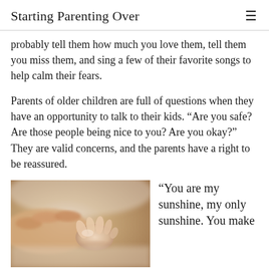Starting Parenting Over
probably tell them how much you love them, tell them you miss them, and sing a few of their favorite songs to help calm their fears.
Parents of older children are full of questions when they have an opportunity to talk to their kids. “Are you safe? Are those people being nice to you? Are you okay?” They are valid concerns, and the parents have a right to be reassured.
[Figure (photo): Close-up photo of an adult hand holding a small baby's hand, soft focus background]
“You are my sunshine, my only sunshine. You make